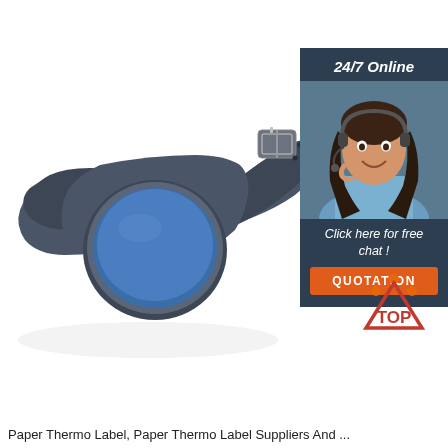[Figure (photo): A dark gray/black silicone wristband with a blue oval RFID/NFC smart chip face, photographed on white background. The band has a buckle clasp. Overlaid in top-right corner is a customer service chat widget showing '24/7 Online', a smiling female agent with headset, 'Click here for free chat!' text, and an orange QUOTATION button. Bottom-right shows a red 'TOP' navigation icon with orange dots above it.]
Paper Thermo Label, Paper Thermo Label Suppliers And ...